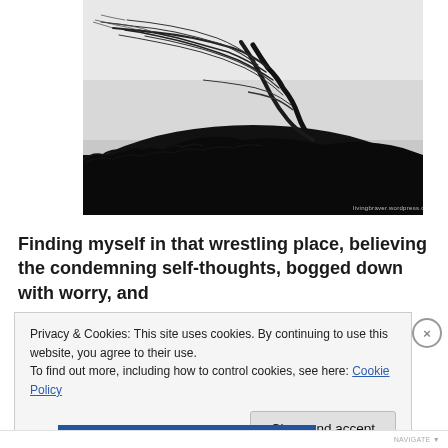[Figure (photo): Black and white photograph of a windswept tree silhouetted against a pale sky, bending dramatically to the left, with dark hillside in the foreground. Watermark reads livingbraver.wordpress.com]
Finding myself in that wrestling place, believing the condemning self-thoughts, bogged down with worry, and
Privacy & Cookies: This site uses cookies. By continuing to use this website, you agree to their use.
To find out more, including how to control cookies, see here: Cookie Policy